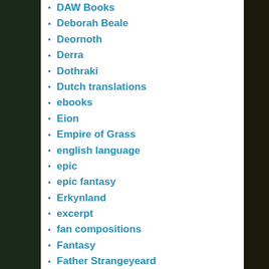DAW Books
Deborah Beale
Deornoth
Derra
Dothraki
Dutch translations
ebooks
Eion
Empire of Grass
english language
epic
epic fantasy
Erkynland
excerpt
fan compositions
Fantasy
Father Strangeyeard
Game of Thones
George R. R. Martin
german
German translations
Google